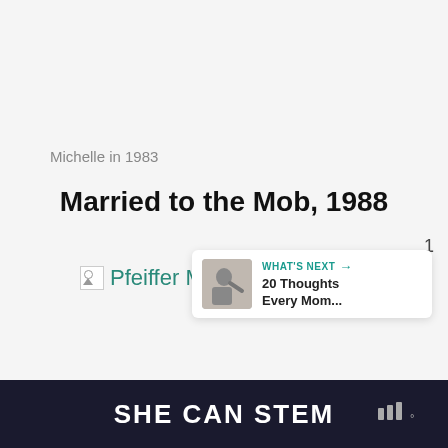Michelle in 1983
Married to the Mob, 1988
[Figure (photo): Broken image placeholder showing 'Pfeiffer Married to the Mob' alt text in teal/green color]
[Figure (other): Teal heart like button showing count of 1, and a share button below]
[Figure (infographic): What's Next card with thumbnail and text '20 Thoughts Every Mom...']
SHE CAN STEM